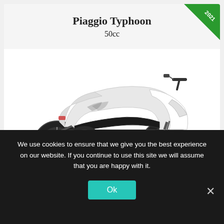Piaggio Typhoon
50cc
[Figure (photo): White and black Piaggio Typhoon 50cc scooter viewed from the side, on a white background]
We use cookies to ensure that we give you the best experience on our website. If you continue to use this site we will assume that you are happy with it.